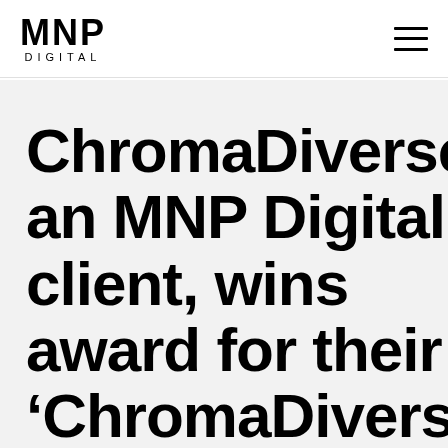MNP DIGITAL
ChromaDiverse, an MNP Digital client, wins award for their 'ChromaDiverse